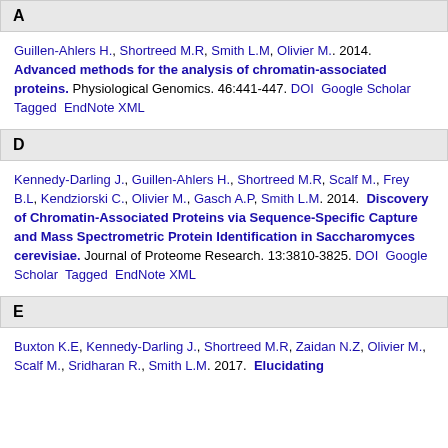A
Guillen-Ahlers H., Shortreed M.R, Smith L.M, Olivier M.. 2014. Advanced methods for the analysis of chromatin-associated proteins. Physiological Genomics. 46:441-447. DOI Google Scholar Tagged EndNote XML
D
Kennedy-Darling J., Guillen-Ahlers H., Shortreed M.R, Scalf M., Frey B.L, Kendziorski C., Olivier M., Gasch A.P, Smith L.M. 2014. Discovery of Chromatin-Associated Proteins via Sequence-Specific Capture and Mass Spectrometric Protein Identification in Saccharomyces cerevisiae. Journal of Proteome Research. 13:3810-3825. DOI Google Scholar Tagged EndNote XML
E
Buxton K.E, Kennedy-Darling J., Shortreed M.R, Zaidan N.Z, Olivier M., Scalf M., Sridharan R., Smith L.M. 2017. Elucidating...